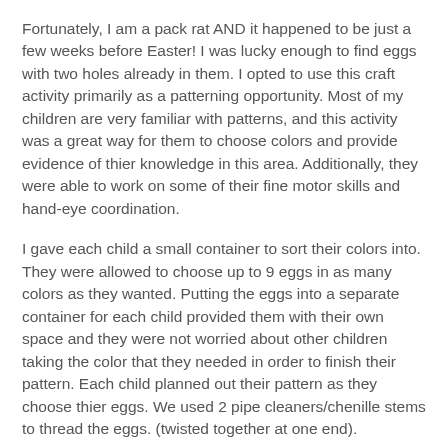Fortunately, I am a pack rat AND it happened to be just a few weeks before Easter! I was lucky enough to find eggs with two holes already in them. I opted to use this craft activity primarily as a patterning opportunity. Most of my children are very familiar with patterns, and this activity was a great way for them to choose colors and provide evidence of thier knowledge in this area. Additionally, they were able to work on some of their fine motor skills and hand-eye coordination.
I gave each child a small container to sort their colors into. They were allowed to choose up to 9 eggs in as many colors as they wanted. Putting the eggs into a separate container for each child provided them with their own space and they were not worried about other children taking the color that they needed in order to finish their pattern. Each child planned out their pattern as they choose thier eggs. We used 2 pipe cleaners/chenille stems to thread the eggs. (twisted together at one end).
The children were very diligent in keeping to their patterns and the level of concentration and determination was high!